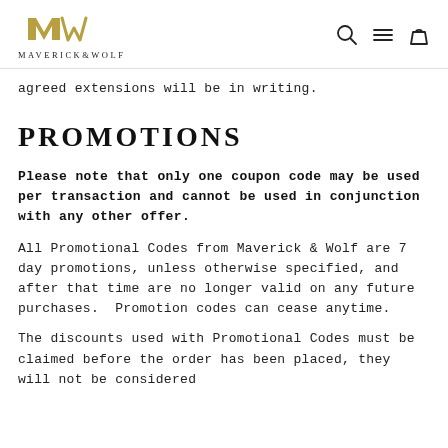MAVERICK&WOLF
agreed extensions will be in writing.
PROMOTIONS
Please note that only one coupon code may be used per transaction and cannot be used in conjunction with any other offer.
All Promotional Codes from Maverick & Wolf are 7 day promotions, unless otherwise specified, and after that time are no longer valid on any future purchases.  Promotion codes can cease anytime.
The discounts used with Promotional Codes must be claimed before the order has been placed, they will not be considered